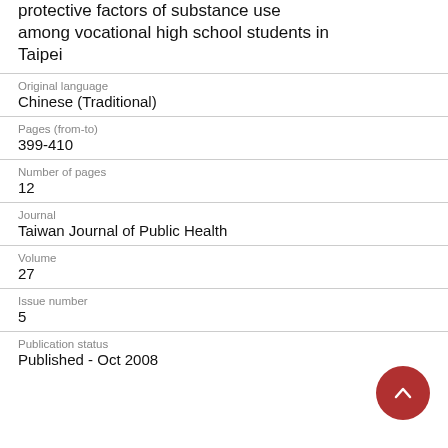protective factors of substance use among vocational high school students in Taipei
Original language
Chinese (Traditional)
Pages (from-to)
399-410
Number of pages
12
Journal
Taiwan Journal of Public Health
Volume
27
Issue number
5
Publication status
Published - Oct 2008